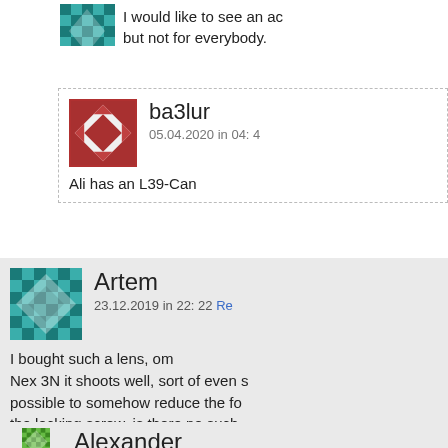I would like to see an ad... but not for everybody.
ba3lur
05.04.2020 in 04:4...
Ali has an L39-Can...
Artem
23.12.2019 in 22: 22 Re...
I bought such a lens, om... Nex 3N it shoots well, sort of even s... possible to somehow reduce the fo... the locking screw, is there no such...
Rodion
23.12.2019 in 22: 3...
Their design is iden...
Alexander
22.01.2020 in 19: 26...